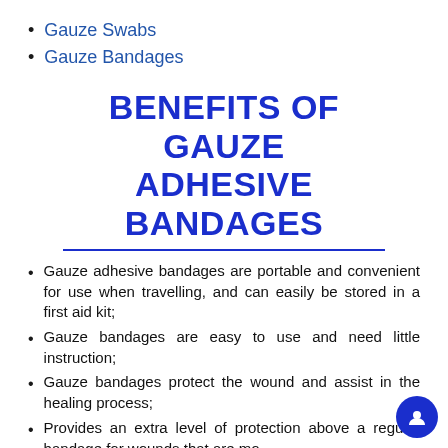Gauze Swabs
Gauze Bandages
BENEFITS OF GAUZE ADHESIVE BANDAGES
Gauze adhesive bandages are portable and convenient for use when travelling, and can easily be stored in a first aid kit;
Gauze bandages are easy to use and need little instruction;
Gauze bandages protect the wound and assist in the healing process;
Provides an extra level of protection above a regular bandage for wounds that are more...